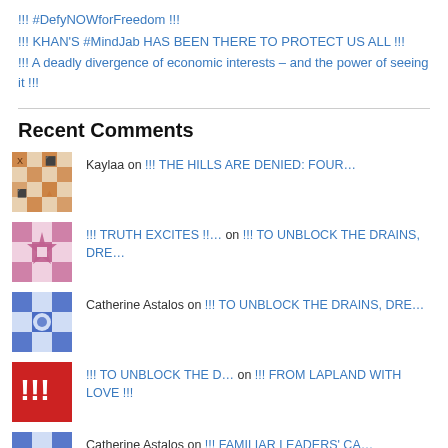!!! #DefyNOWforFreedom !!!
!!! KHAN'S #MindJab HAS BEEN THERE TO PROTECT US ALL !!!
!!! A deadly divergence of economic interests – and the power of seeing it !!!
Recent Comments
Kaylaa on !!! THE HILLS ARE DENIED: FOUR…
!!! TRUTH EXCITES !!… on !!! TO UNBLOCK THE DRAINS, DRE…
Catherine Astalos on !!! TO UNBLOCK THE DRAINS, DRE…
!!! TO UNBLOCK THE D… on !!! FROM LAPLAND WITH LOVE !!!
Catherine Astalos on !!! FAMILIAR LEADERS' CA…